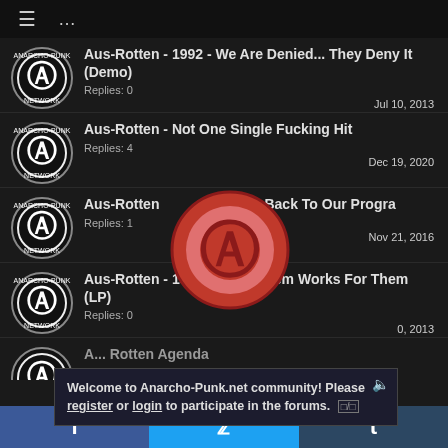Anarcho-Punk Network forum navigation bar
Aus-Rotten - 1992 - We Are Denied... They Deny It (Demo)
Replies: 0
Jul 10, 2013
Aus-Rotten - Not One Single Fucking Hit
Replies: 4
Dec 19, 2020
Aus-Rotten - ...And Now Back To Our Programm...
Replies: 1
Nov 21, 2016
Aus-Rotten - 1994 - The System Works For Them (LP)
Replies: 0
0, 2013
Aus-Rotten Agenda
Welcome to Anarcho-Punk.net community! Please register or login to participate in the forums.
f  Twitter  t